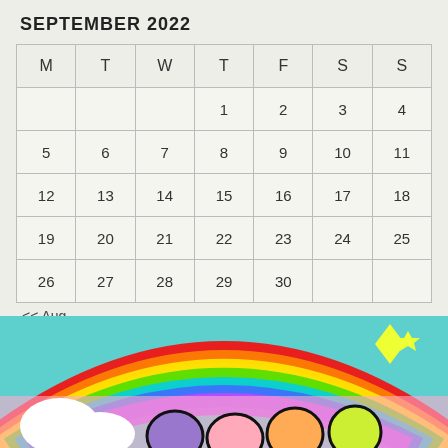SEPTEMBER 2022
| M | T | W | T | F | S | S |
| --- | --- | --- | --- | --- | --- | --- |
|  |  |  | 1 | 2 | 3 | 4 |
| 5 | 6 | 7 | 8 | 9 | 10 | 11 |
| 12 | 13 | 14 | 15 | 16 | 17 | 18 |
| 19 | 20 | 21 | 22 | 23 | 24 | 25 |
| 26 | 27 | 28 | 29 | 30 |  |  |
<< Aug
[Figure (illustration): Row of colorful cross/plus-sign pixel art icons in various colors: red, orange, yellow, green, light blue, dark blue, navy, dark red/maroon]
[Figure (illustration): Colorful cartoon scene with rainbow background and cute cartoon characters at the bottom of the page]